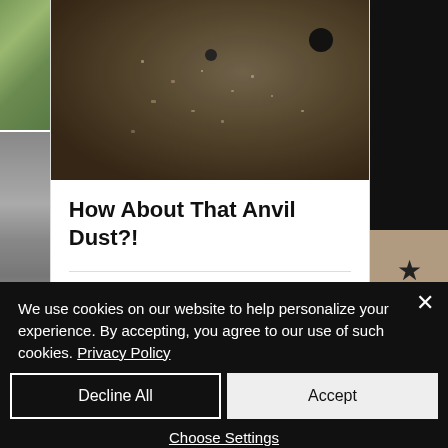[Figure (photo): Close-up photo of an anvil surface covered in dust and metal filings, with a dark background and a hole visible.]
How About That Anvil Dust?!
28 views, 0 comments, 3 likes
We use cookies on our website to help personalize your experience. By accepting, you agree to our use of such cookies. Privacy Policy
Decline All
Accept
Choose Settings